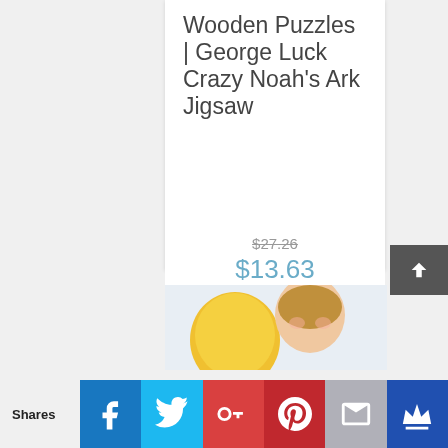Wooden Puzzles | George Luck Crazy Noah's Ark Jigsaw
$27.26
$13.63
Details
[Figure (photo): Child with yellow balloon or toy, top portion visible]
Shares
[Figure (infographic): Social sharing bar with Facebook, Twitter, Google+, Pinterest, Email, and Crown icons]